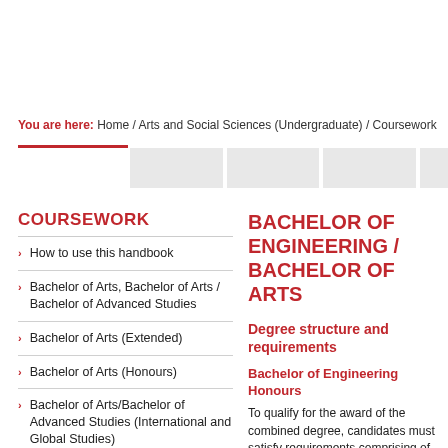You are here: Home / Arts and Social Sciences (Undergraduate) / Coursework
COURSEWORK
How to use this handbook
Bachelor of Arts, Bachelor of Arts / Bachelor of Advanced Studies
Bachelor of Arts (Extended)
Bachelor of Arts (Honours)
Bachelor of Arts/Bachelor of Advanced Studies (International and Global Studies)
BACHELOR OF ENGINEERING / BACHELOR OF ARTS
Degree structure and requirements
Bachelor of Engineering Honours
To qualify for the award of the combined degree, candidates must satisfy requirements comprising of the below.
Candidates must complete a minimum of detailed in the Bachelor of Engineering...